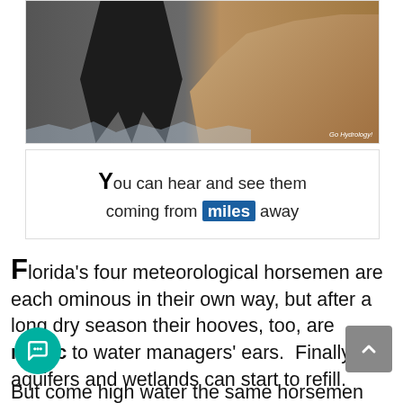[Figure (photo): A dark horse running through water/mud with rocky terrain in the background. Photo credit: Go Hydrology!]
You can hear and see them coming from miles away
Florida’s four meteorological horsemen are each ominous in their own way, but after a long dry season their hooves, too, are music to water managers’ ears.  Finally, aquifers and wetlands can start to refill.
But come high water the same horsemen are